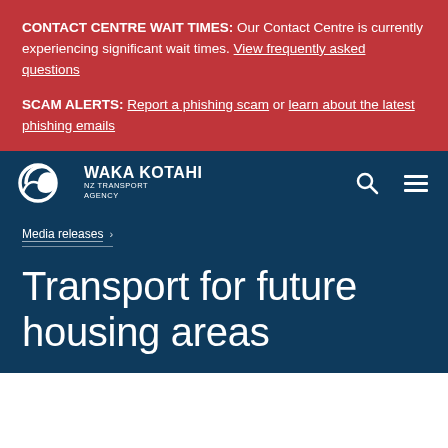CONTACT CENTRE WAIT TIMES: Our Contact Centre is currently experiencing significant wait times. View frequently asked questions
SCAM ALERTS: Report a phishing scam or learn about the latest phishing emails
[Figure (logo): Waka Kotahi NZ Transport Agency logo — stylised white koru/spiral on dark blue background with white text WAKA KOTAHI and NZ TRANSPORT AGENCY]
Media releases ›
Transport for future housing areas